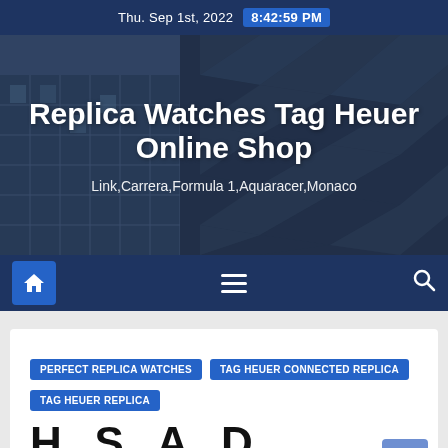Thu. Sep 1st, 2022  8:42:59 PM
[Figure (photo): Aerial/upward view of modern glass skyscrapers with geometric facade patterns, used as hero banner background]
Replica Watches Tag Heuer Online Shop
Link,Carrera,Formula 1,Aquaracer,Monaco
[Figure (infographic): Navigation bar with home icon (blue button), hamburger menu icon, and search icon on dark navy background]
PERFECT REPLICA WATCHES
TAG HEUER CONNECTED REPLICA
TAG HEUER REPLICA
H...